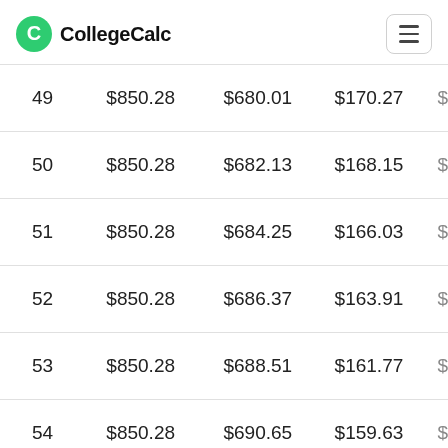CollegeCalc
| # | Payment | Principal | Interest | Balance |
| --- | --- | --- | --- | --- |
| 49 | $850.28 | $680.01 | $170.27 | $ |
| 50 | $850.28 | $682.13 | $168.15 | $ |
| 51 | $850.28 | $684.25 | $166.03 | $ |
| 52 | $850.28 | $686.37 | $163.91 | $ |
| 53 | $850.28 | $688.51 | $161.77 | $ |
| 54 | $850.28 | $690.65 | $159.63 | $ |